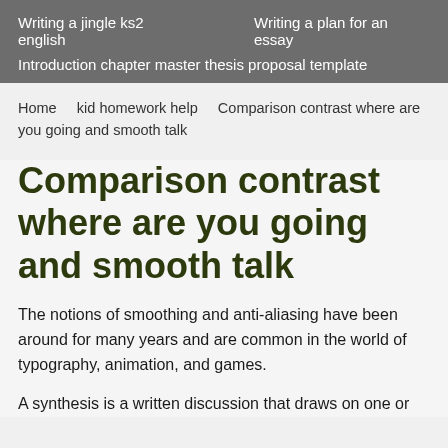Writing a jingle ks2 english    Writing a plan for an essay
Introduction chapter master thesis proposal template
Home    kid homework help    Comparison contrast where are you going and smooth talk
Comparison contrast where are you going and smooth talk
The notions of smoothing and anti-aliasing have been around for many years and are common in the world of typography, animation, and games.
A synthesis is a written discussion that draws on one or